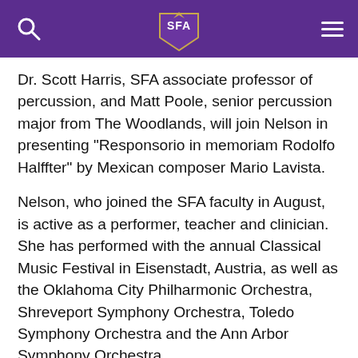SFA navigation bar with search icon, SFA logo, and menu icon
Dr. Scott Harris, SFA associate professor of percussion, and Matt Poole, senior percussion major from The Woodlands, will join Nelson in presenting "Responsorio in memoriam Rodolfo Halffter" by Mexican composer Mario Lavista.
Nelson, who joined the SFA faculty in August, is active as a performer, teacher and clinician. She has performed with the annual Classical Music Festival in Eisenstadt, Austria, as well as the Oklahoma City Philharmonic Orchestra, Shreveport Symphony Orchestra, Toledo Symphony Orchestra and the Ann Arbor Symphony Orchestra.
She has served as the principal bassoon in the Great Falls Symphony and was a member of the Chinook